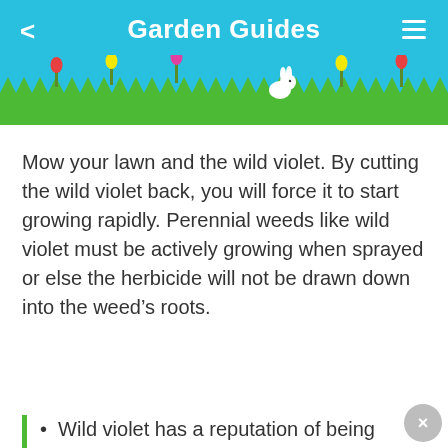Garden Guides
[Figure (illustration): App header banner with sky blue background, decorative grass strip with colorful tulip flowers, a white rabbit, back arrow on left, hamburger menu on right, title 'Garden Guides' in white bold text]
Mow your lawn and the wild violet. By cutting the wild violet back, you will force it to start growing rapidly. Perennial weeds like wild violet must be actively growing when sprayed or else the herbicide will not be drawn down into the weed's roots.
Wild violet has a reputation of being